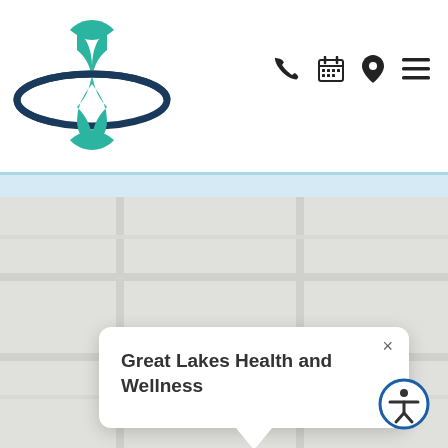[Figure (logo): Great Lakes Health and Wellness logo — teal hourglass/figure shape with dark blue orbital ring around it]
[Figure (infographic): Navigation icons: phone handset, calendar, map pin, hamburger menu]
[Figure (map): Google Maps-style grey map view showing a map popup with the label 'Great Lakes Health and Wellness', with a close button (×) in the top right of the popup]
Great Lakes Health and Wellness
[Figure (infographic): Accessibility icon button — circular blue border with white background, person with arms out (accessibility symbol)]